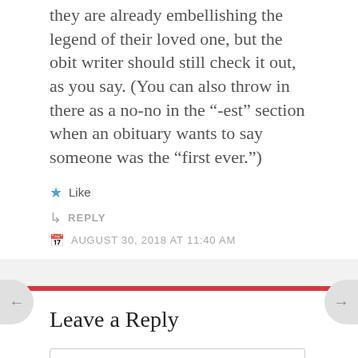they are already embellishing the legend of their loved one, but the obit writer should still check it out, as you say. (You can also throw in there as a no-no in the “-est” section when an obituary wants to say someone was the “first ever.”)
Like
REPLY
AUGUST 30, 2018 AT 11:40 AM
Leave a Reply
Enter your comment here...